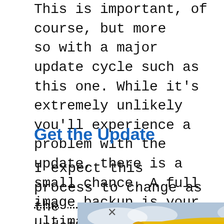This is important, of course, but more so with a major update cycle such as this one. While it’s extremely unlikely you’ll experience a problem with the update, there is a small chance. A full image backup is your ultimate safety net should something go wrong.
Get the Update
I expect this process to change as the update rolls out more widely, but for now, here are the steps to get the
[Figure (photo): Advertisement banner showing a cargo plane being loaded with freight, with text overlay reading 'WITHOUT REGARD TO POLITICS, RELIGION OR HEALTH PLANS']
×